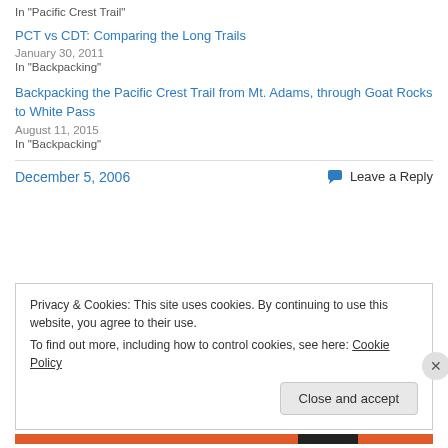In "Pacific Crest Trail"
PCT vs CDT: Comparing the Long Trails
January 30, 2011
In "Backpacking"
Backpacking the Pacific Crest Trail from Mt. Adams, through Goat Rocks to White Pass
August 11, 2015
In "Backpacking"
December 5, 2006
Leave a Reply
Privacy & Cookies: This site uses cookies. By continuing to use this website, you agree to their use.
To find out more, including how to control cookies, see here: Cookie Policy
Close and accept